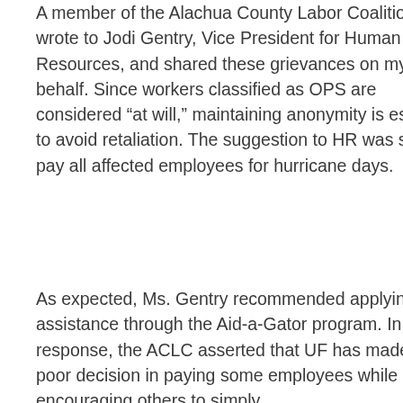A member of the Alachua County Labor Coalition wrote to Jodi Gentry, Vice President for Human Resources, and shared these grievances on my behalf. Since workers classified as OPS are considered “at will,” maintaining anonymity is essential to avoid retaliation. The suggestion to HR was simple: pay all affected employees for hurricane days.
As expected, Ms. Gentry recommended applying for assistance through the Aid-a-Gator program. In response, the ACLC asserted that UF has made a poor decision in paying some employees while encouraging others to simply